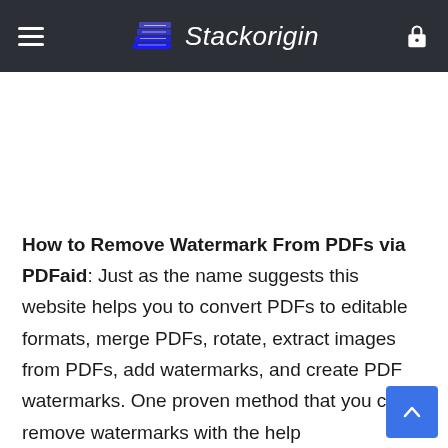Stackorigin
[Figure (logo): Stackorigin website logo with book stack icon and italic text]
How to Remove Watermark From PDFs via PDFaid: Just as the name suggests this website helps you to convert PDFs to editable formats, merge PDFs, rotate, extract images from PDFs, add watermarks, and create PDF watermarks. One proven method that you can remove watermarks with the help